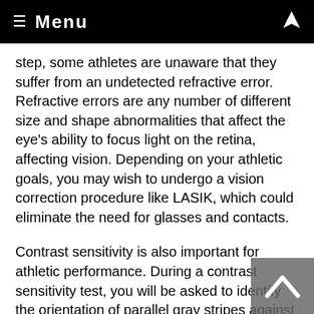≡ Menu
step, some athletes are unaware that they suffer from an undetected refractive error. Refractive errors are any number of different size and shape abnormalities that affect the eye's ability to focus light on the retina, affecting vision. Depending on your athletic goals, you may wish to undergo a vision correction procedure like LASIK, which could eliminate the need for glasses and contacts.
Contrast sensitivity is also important for athletic performance. During a contrast sensitivity test, you will be asked to identify the orientation of parallel gray stripes against backgrounds of various colors. The backgrounds gradually begin to match the shades of the stripes. Low contrast sensitivity, especially in low-light conditions, will make it more difficult to track objects. A variety of solutions can be effective for addressing contrast sensitivity concerns. These solutions include wearing eyeglasses